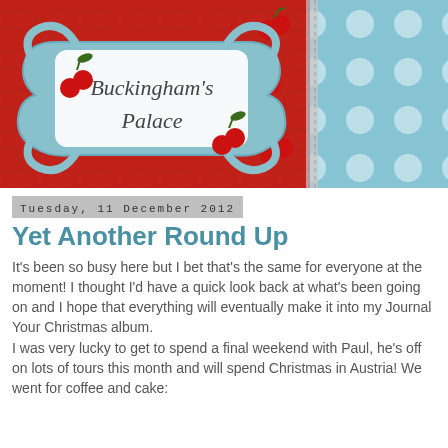[Figure (illustration): Blog header image showing a decorative label/tag with 'Buckingham's Palace' text on a red background with cherries pattern, next to a light blue polka dot fabric panel. The label has a blue ornate frame with a pale blue background.]
Tuesday, 11 December 2012
Yet Another Round Up
It's been so busy here but I bet that's the same for everyone at the moment! I thought I'd have a quick look back at what's been going on and I hope that everything will eventually make it into my Journal Your Christmas album.
I was very lucky to get to spend a final weekend with Paul, he's off on lots of tours this month and will spend Christmas in Austria! We went for coffee and cake: